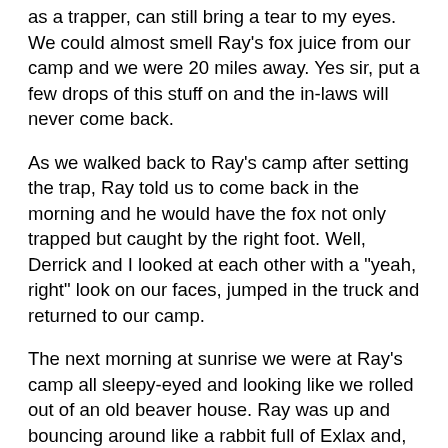as a trapper, can still bring a tear to my eyes. We could almost smell Ray's fox juice from our camp and we were 20 miles away. Yes sir, put a few drops of this stuff on and the in-laws will never come back.
As we walked back to Ray's camp after setting the trap, Ray told us to come back in the morning and he would have the fox not only trapped but caught by the right foot. Well, Derrick and I looked at each other with a “yeah, right” look on our faces, jumped in the truck and returned to our camp.
The next morning at sunrise we were at Ray’s camp all sleepy-eyed and looking like we rolled out of an old beaver house. Ray was up and bouncing around like a rabbit full of Exlax and, before we knew it, we were on our way down the trail.
It wasn’t long before we came upon the set and